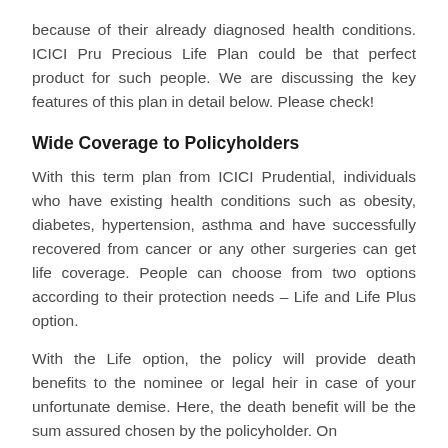because of their already diagnosed health conditions. ICICI Pru Precious Life Plan could be that perfect product for such people. We are discussing the key features of this plan in detail below. Please check!
Wide Coverage to Policyholders
With this term plan from ICICI Prudential, individuals who have existing health conditions such as obesity, diabetes, hypertension, asthma and have successfully recovered from cancer or any other surgeries can get life coverage. People can choose from two options according to their protection needs – Life and Life Plus option.
With the Life option, the policy will provide death benefits to the nominee or legal heir in case of your unfortunate demise. Here, the death benefit will be the sum assured chosen by the policyholder. On